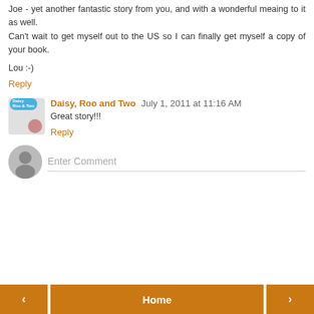Joe - yet another fantastic story from you, and with a wonderful meaing to it as well.
Can't wait to get myself out to the US so I can finally get myself a copy of your book.
Lou :-)
Reply
Daisy, Roo and Two  July 1, 2011 at 11:16 AM
Great story!!!
Reply
Enter Comment